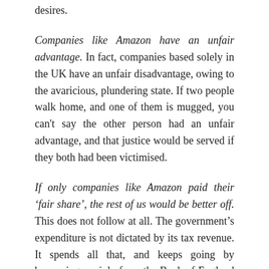desires.
Companies like Amazon have an unfair advantage. In fact, companies based solely in the UK have an unfair disadvantage, owing to the avaricious, plundering state. If two people walk home, and one of them is mugged, you can't say the other person had an unfair advantage, and that justice would be served if they both had been victimised.
If only companies like Amazon paid their 'fair share', the rest of us would be better off. This does not follow at all. The government's expenditure is not dictated by its tax revenue. It spends all that, and keeps going by borrowing, mainly from the Bank of England at the moment, which magics up the cash for the purpose. Tax avoidance does not harm the economy. The more money a company avoids...